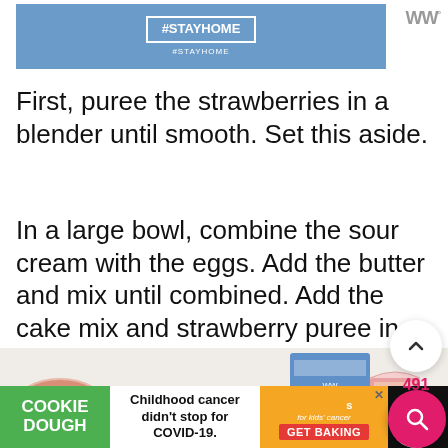[Figure (screenshot): Blue banner advertisement at top of page with white text and logo]
First, puree the strawberries in a blender until smooth. Set this aside.
In a large bowl, combine the sour cream with the eggs. Add the butter and mix until combined. Add the cake mix and strawberry puree in batches, alternating between the two, until the batter comes together and is well combined.
[Figure (photo): Overhead photo of strawberry cake ingredients including strawberries, a bowl with strawberry mixture, a blue box, and pink layered cake]
[Figure (screenshot): Cookie Dough ad banner: Childhood cancer didn't stop for COVID-19. GET BAKING. cookies for kids cancer.]